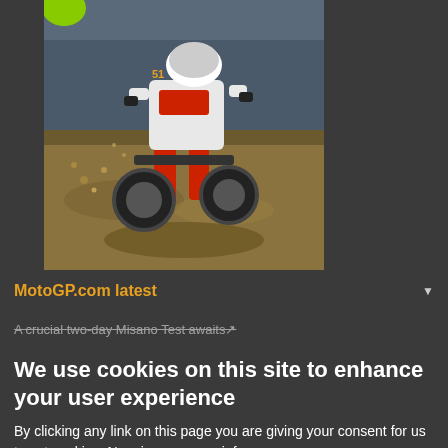[Figure (photo): Motocross/supercross rider on a dirt bike kicking up dirt/sand, wearing red and white gear with Red Bull branding, number 51 visible, action shot close to the ground.]
MotoGP.com latest
A crucial two-day Misano Test awaits
We use cookies on this site to enhance your user experience
By clicking any link on this page you are giving your consent for us to set cookies. No, give me more info
OK, I agree